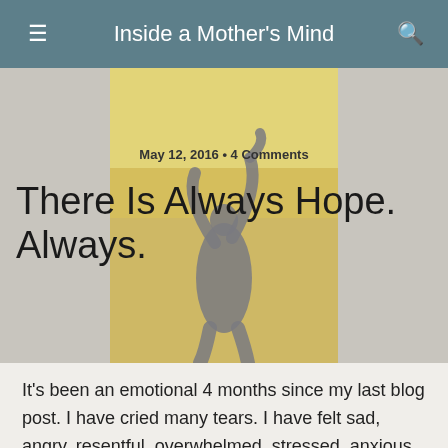Inside a Mother's Mind
[Figure (photo): Silhouette of a person with arms raised against a yellow/golden sky background]
May 12, 2016 • 4 Comments
There Is Always Hope. Always.
It's been an emotional 4 months since my last blog post. I have cried many tears. I have felt sad, angry, resentful, overwhelmed, stressed, anxious, fearful, a mixture of emotions. At times, when I was feeling at my absolute worst, I even struggled to see whether life was worth living any more. But today, as I write, I am filled with so much hope. I'm smiling. Today, I'd like to tell everyone out there reading this what I've been up to for the past 4 months.